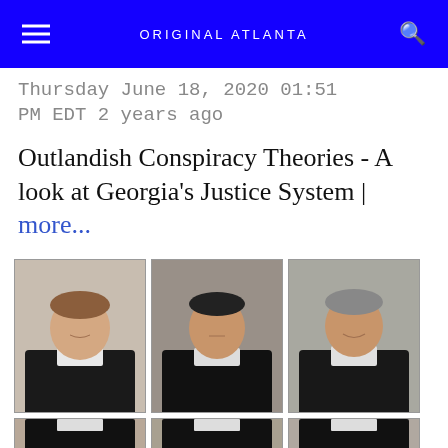ORIGINAL ATLANTA
Thursday June 18, 2020 01:51 PM EDT 2 years ago
Outlandish Conspiracy Theories - A look at Georgia's Justice System | more...
[Figure (photo): Three judicial portrait photographs showing judges in black robes, arranged in a row. A partial second row of portraits is visible at the bottom edge.]